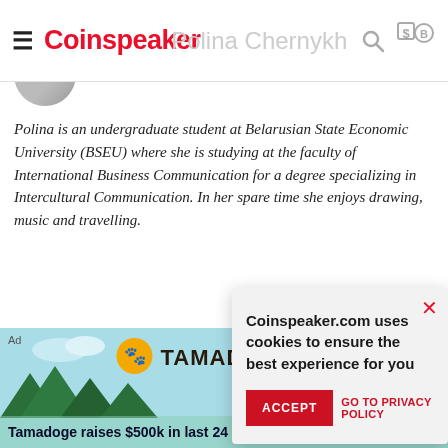Coinspeaker
Polina is an undergraduate student at Belarusian State Economic University (BSEU) where she is studying at the faculty of International Business Communication for a degree specializing in Intercultural Communication. In her spare time she enjoys drawing, music and travelling.
Newsletter
Your e-mail *
Coinspeaker.com uses cookies to ensure the best experience for you
ACCEPT
GO TO PRIVACY POLICY
[Figure (screenshot): Tamadoge advertisement banner with logo, dog mascot, and 'Tamadoge raises $500k in last 24 hours' tagline with READ MORE button]